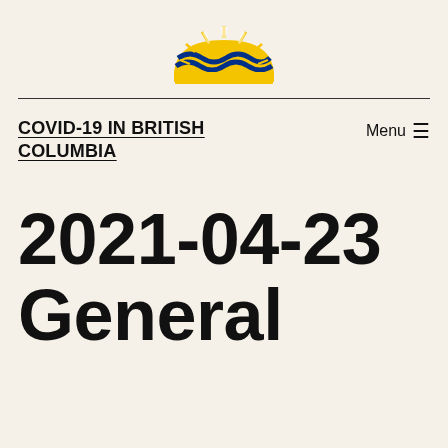[Figure (logo): BC Government logo — stylized rising sun with blue and yellow wave pattern]
COVID-19 IN BRITISH COLUMBIA
2021-04-23 General